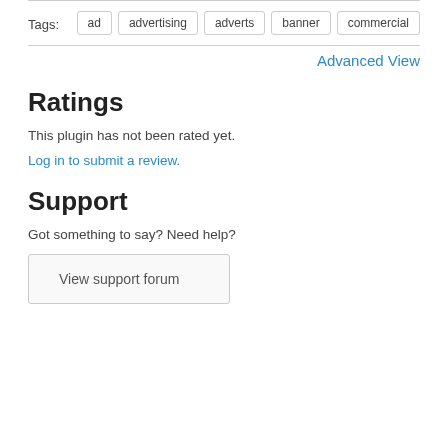Tags: ad  advertising  adverts  banner  commercial
Advanced View
Ratings
This plugin has not been rated yet.
Log in to submit a review.
Support
Got something to say? Need help?
View support forum